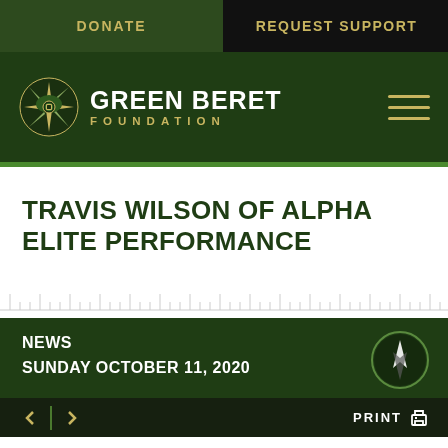DONATE | REQUEST SUPPORT
[Figure (logo): Green Beret Foundation logo with compass/star icon and text 'GREEN BERET FOUNDATION']
TRAVIS WILSON OF ALPHA ELITE PERFORMANCE
NEWS
SUNDAY OCTOBER 11, 2020
PRINT